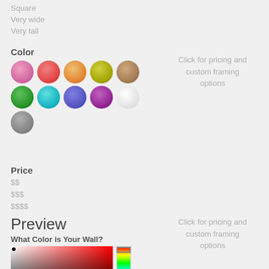Square
Very wide
Very tall
Color
[Figure (other): Color swatches: two rows of 5 circles (pink, red/coral, orange, yellow-green, tan; green, cyan, blue/periwinkle, purple, white) plus one gray circle below]
Price
$$
$$$
$$$$
Preview
What Color is Your Wall?
[Figure (other): Color picker with a gradient square (white to red, darkening to black) and a vertical hue bar showing full spectrum]
Click for pricing and custom framing options
Click for pricing and custom framing options